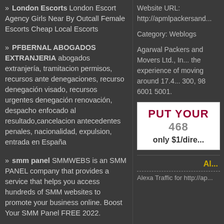» London Escorts London Escort Agency Girls Near By Outcall Female Escorts Cheap Local Escorts
» PFBERNAL ABOGADOS EXTRANJERIA abogados extranjería, tramitacion permisos, recursos ante denegaciones, recurso denegación visado, recursos urgentes denegación renovación, despacho enfocado al resultado,cancelacion antecedentes penales, nacionalidad, expulsion, entrada en España
» smm panel SMMWEBS is an SMM PANEL company that provides a service that helps you access hundreds of SMM websites to promote your business online. Boost Your SMM Panel FREE 2022.
» buy youtube watch hours Best
Website URL: http://apmlpackersand...
Category: Weblogs
Agarwal Packers and Movers Ltd., In... the experience of moving around 17.4... 300, 98 6001 5001.
[Figure (infographic): Ad box with text: PUT YOUR 468... only $1/dire...]
Al...
Alexa Traffic for http://ap...